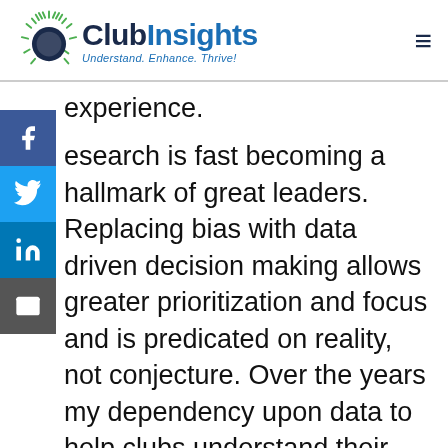[Figure (logo): ClubInsights logo with sunburst icon and tagline 'Understand. Enhance. Thrive!']
experience.
research is fast becoming a hallmark of great leaders. Replacing bias with data driven decision making allows greater prioritization and focus and is predicated on reality, not conjecture. Over the years my dependency upon data to help clubs understand their reality has helped over 1200 clubs find clarity in strategy and